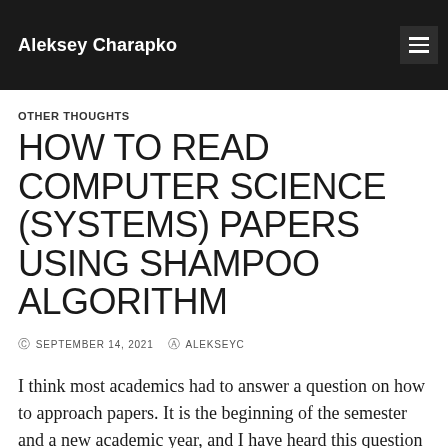Aleksey Charapko
OTHER THOUGHTS
HOW TO READ COMPUTER SCIENCE (SYSTEMS) PAPERS USING SHAMPOO ALGORITHM
SEPTEMBER 14, 2021  ALEKSEYC
I think most academics had to answer a question on how to approach papers. It is the beginning of the semester and a new academic year, and I have heard this question quite a lot in the